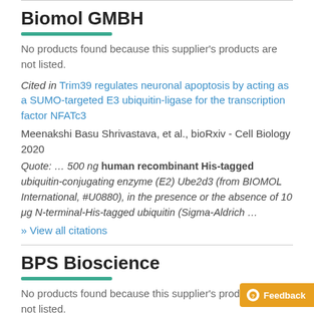Biomol GMBH
No products found because this supplier's products are not listed.
Cited in Trim39 regulates neuronal apoptosis by acting as a SUMO-targeted E3 ubiquitin-ligase for the transcription factor NFATc3
Meenakshi Basu Shrivastava, et al., bioRxiv - Cell Biology 2020
Quote: ... 500 ng human recombinant His-tagged ubiquitin-conjugating enzyme (E2) Ube2d3 (from BIOMOL International, #U0880), in the presence or the absence of 10 μg N-terminal-His-tagged ubiquitin (Sigma-Aldrich ...
» View all citations
BPS Bioscience
No products found because this supplier's products are not listed.
Cited in Suramin potently inhibits binding of the ma...